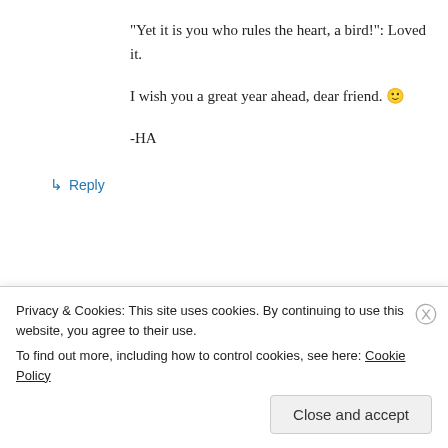“Yet it is you who rules the heart, a bird!”: Loved it.
I wish you a great year ahead, dear friend. 🙂
-HA
↳ Reply
Oloriel on January 10, 2016 at 12:53 am
Thank you very much, HA, for reading and
Privacy & Cookies: This site uses cookies. By continuing to use this website, you agree to their use.
To find out more, including how to control cookies, see here: Cookie Policy